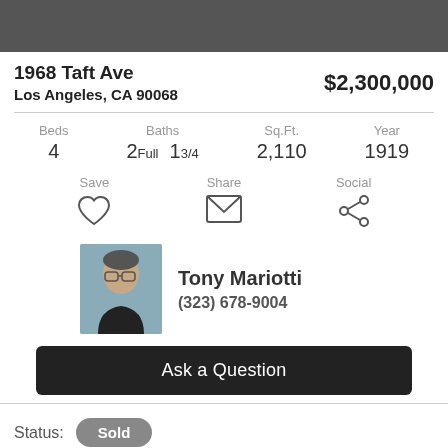1968 Taft Ave
Los Angeles, CA 90068
$2,300,000
Beds 4  Baths 2Full 13/4  Sq.Ft. 2,110  Year 1919
Save  Share  Social
Tony Mariotti
(323) 678-9004
Ask a Question
Status: Sold